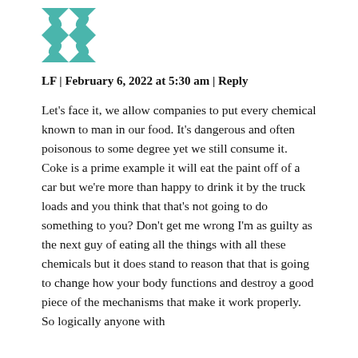[Figure (illustration): Teal and white decorative avatar/profile icon with geometric leaf and bird pattern]
LF | February 6, 2022 at 5:30 am | Reply
Let's face it, we allow companies to put every chemical known to man in our food. It's dangerous and often poisonous to some degree yet we still consume it. Coke is a prime example it will eat the paint off of a car but we're more than happy to drink it by the truck loads and you think that that's not going to do something to you? Don't get me wrong I'm as guilty as the next guy of eating all the things with all these chemicals but it does stand to reason that that is going to change how your body functions and destroy a good piece of the mechanisms that make it work properly. So logically anyone with